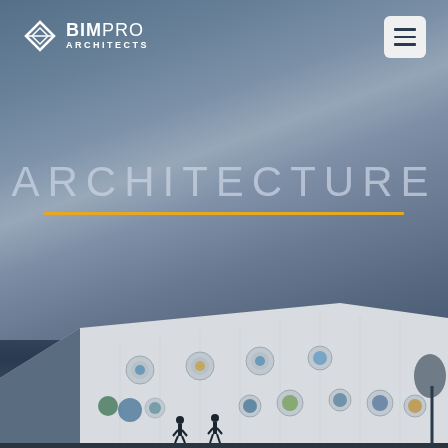[Figure (photo): Background hero image of a modern white angular building with colorful circular porthole windows, figures of people walking in front, set against a moody blue-grey cloudy sky. The building has a distinctive slanted roof facade with many circular decorative elements.]
BIM PRO ARCHITECTS
ARCHITECTURE